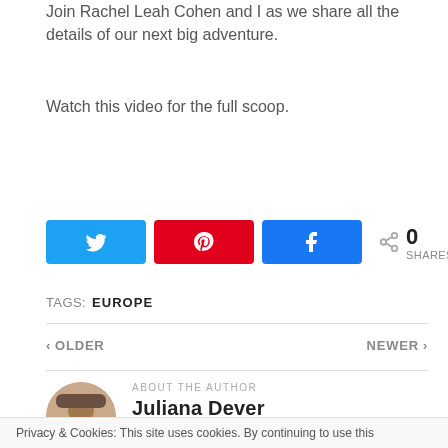Join Rachel Leah Cohen and I as we share all the details of our next big adventure.
Watch this video for the full scoop.
[Figure (other): Social share buttons: Twitter (blue), Pinterest (red), Facebook (blue), and a share count showing 0 SHARES]
TAGS:  EUROPE
< OLDER
NEWER >
ABOUT THE AUTHOR
Juliana Dever
Privacy & Cookies: This site uses cookies. By continuing to use this